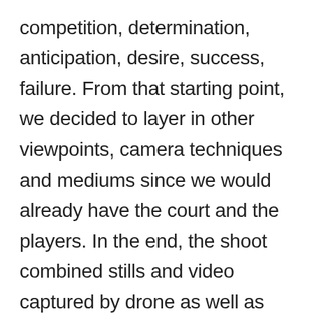competition, determination, anticipation, desire, success, failure. From that starting point, we decided to layer in other viewpoints, camera techniques and mediums since we would already have the court and the players. In the end, the shoot combined stills and video captured by drone as well as shot on the ground, resulting in almost 360-degree coverage with multiple points of view, abstract to immersive visual styles, graphic elements, and sense of dramatic narrative.